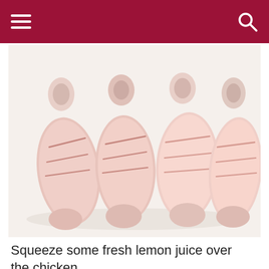Navigation bar with hamburger menu and search icon
[Figure (photo): Four raw chicken drumsticks scored with diagonal cuts arranged on a white cutting board, photographed from the front]
Squeeze some fresh lemon juice over the chicken pieces and let the sit while you prepare the basting sauce.